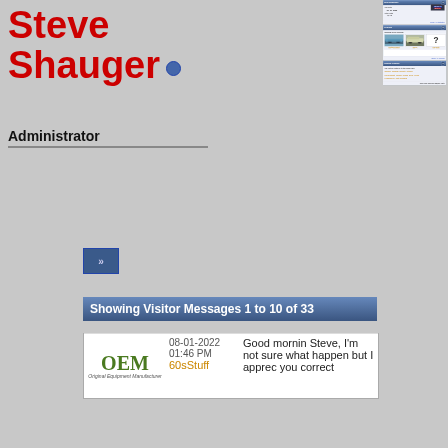Steve Shauger
Administrator
Mini Statistics
Join Date
08-23-2000
Total Posts
4,142
Show All Statistics
Friends
Showing 3 of 3 Friend(s)
firstgenaddict
bergy
wayoutz
Show All Friends
Recent Visitors
The last 10 visitor(s) to this page were:
302moz 1903USMCUnertl betarho chevelleheart chris69 dl7265 DWR juliosz L72Biscayne orbit orange70
This page has had 62,717 visits
Showing Visitor Messages 1 to 10 of 33
08-01-2022 01:46 PM
60sStuff
Good mornin Steve, I'm not sure what happen but I apprec you correct